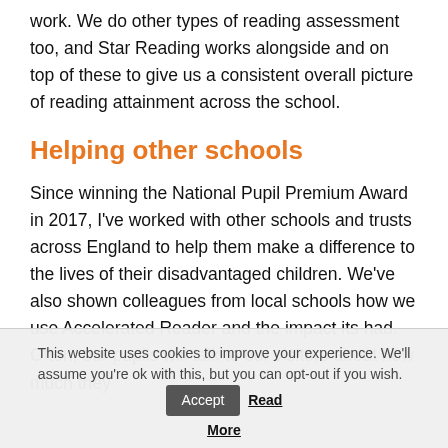work. We do other types of reading assessment too, and Star Reading works alongside and on top of these to give us a consistent overall picture of reading attainment across the school.
Helping other schools
Since winning the National Pupil Premium Award in 2017, I've worked with other schools and trusts across England to help them make a difference to the lives of their disadvantaged children. We've also shown colleagues from local schools how we use Accelerated Reader and the impact its had. Often, our pupils will talk to our visitors about how much they
This website uses cookies to improve your experience. We'll assume you're ok with this, but you can opt-out if you wish. Accept Read More